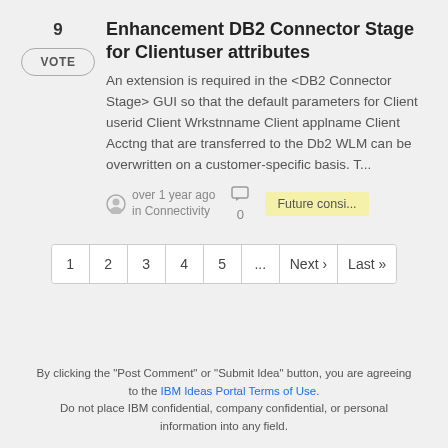Enhancement DB2 Connector Stage for Clientuser attributes
An extension is required in the <DB2 Connector Stage> GUI so that the default parameters for Client userid Client Wrkstnname Client applname Client Acctng that are transferred to the Db2 WLM can be overwritten on a customer-specific basis. T...
over 1 year ago in Connectivity
Future consi...
1
2
3
4
5
...
Next ›
Last »
By clicking the "Post Comment" or "Submit Idea" button, you are agreeing to the IBM Ideas Portal Terms of Use. Do not place IBM confidential, company confidential, or personal information into any field.